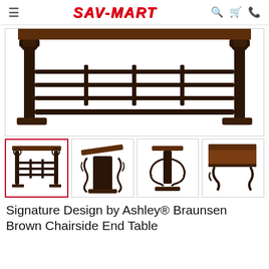SAV-MART
[Figure (photo): Close-up photo of the underside/base of a dark brown metal and wood chairside end table, showing the metal grid shelf and scroll legs]
[Figure (photo): Thumbnail 1 (selected): Front view of the Braunsen Brown Chairside End Table showing full table with metal grid shelf]
[Figure (photo): Thumbnail 2: Side/angle view of the table showing ornate scrollwork metal base]
[Figure (photo): Thumbnail 3: Front view of the table showing ornate scrollwork metal base]
[Figure (photo): Thumbnail 4: Close-up corner view of the dark brown wood top and metal scroll leg]
Signature Design by Ashley® Braunsen Brown Chairside End Table